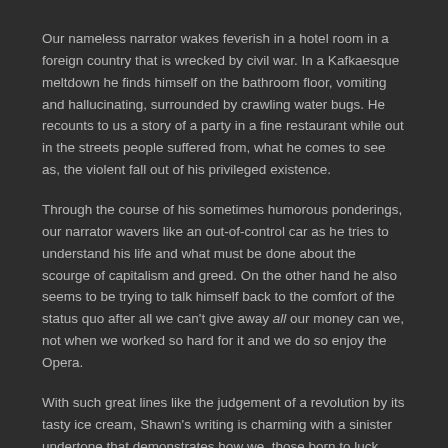Our nameless narrator wakes feverish in a hotel room in a foreign country that is wrecked by civil war. In a Kafkaesque meltdown he finds himself on the bathroom floor, vomiting and hallucinating, surrounded by crawling water bugs. He recounts to us a story of a party in a fine restaurant while out in the streets people suffered from, what he comes to see as, the violent fall out of his privileged existence.
Through the course of his sometimes humorous ponderings, our narrator wavers like an out-of-control car as he tries to understand his life and what must be done about the scourge of capitalism and greed. On the other hand he also seems to be trying to talk himself back to the comfort of the status quo after all we can't give away all our money can we, not when we worked so hard for it and we do so enjoy the Opera.
With such great lines like the judgement of a revolution by its tasty ice cream, Shawn's writing is charming with a sinister undertone that demonstrates how we, those born to luck, talk ourselves out of doing what we know to be right.